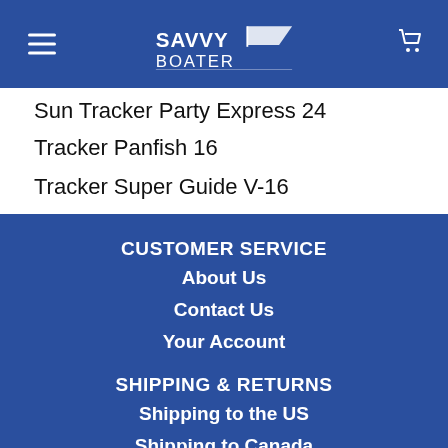SavvyBoater
Sun Tracker Party Express 24
Tracker Panfish 16
Tracker Super Guide V-16
CUSTOMER SERVICE
About Us
Contact Us
Your Account
SHIPPING & RETURNS
Shipping to the US
Shipping to Canada
International Shipping